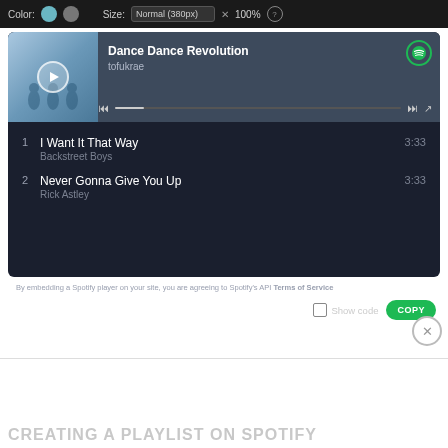[Figure (screenshot): Spotify embed player widget showing a playlist with 'Dance Dance Revolution' by tofukrae playing, with tracks: 1. I Want It That Way - Backstreet Boys (3:33), 2. Never Gonna Give You Up - Rick Astley (3:33). Below is footer text about Spotify API Terms of Service, a Show code checkbox, and a COPY button.]
By embedding a Spotify player on your site, you are agreeing to Spotify's API Terms of Service
Show code
COPY
CREATING A PLAYLIST ON SPOTIFY